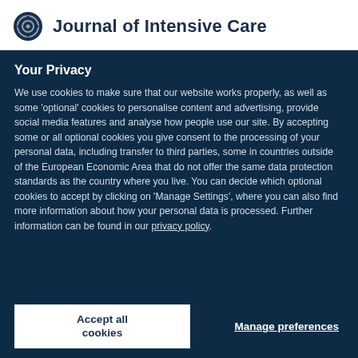Journal of Intensive Care
Your Privacy
We use cookies to make sure that our website works properly, as well as some 'optional' cookies to personalise content and advertising, provide social media features and analyse how people use our site. By accepting some or all optional cookies you give consent to the processing of your personal data, including transfer to third parties, some in countries outside of the European Economic Area that do not offer the same data protection standards as the country where you live. You can decide which optional cookies to accept by clicking on 'Manage Settings', where you can also find more information about how your personal data is processed. Further information can be found in our privacy policy.
Accept all cookies
Manage preferences